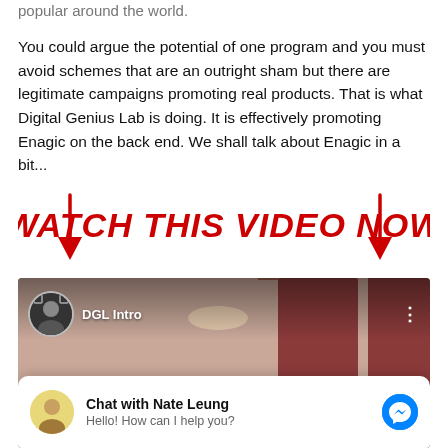popular around the world.

You could argue the potential of one program and you must avoid schemes that are an outright sham but there are legitimate campaigns promoting real products. That is what Digital Genius Lab is doing. It is effectively promoting Enagic on the back end. We shall talk about Enagic in a bit...
[Figure (illustration): Handwritten red text reading 'WATCH THIS VIDEO NOW' with red arrows pointing down on each side]
[Figure (screenshot): Facebook video embed showing 'DGL Intro' with a person's avatar, and a chat popup at the bottom: 'Chat with Nate Leung — Hello! How can I help you?' with a Messenger icon]